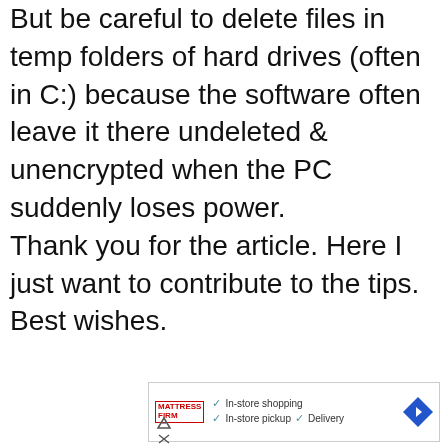But be careful to delete files in temp folders of hard drives (often in C:) because the software often leave it there undeleted & unencrypted when the PC suddenly loses power.
Thank you for the article. Here I just want to contribute to the tips. Best wishes.
Reply
[Figure (other): Mattress Firm advertisement banner showing checkmarks for In-store shopping, In-store pickup, and Delivery options, with a blue diamond navigation arrow icon]